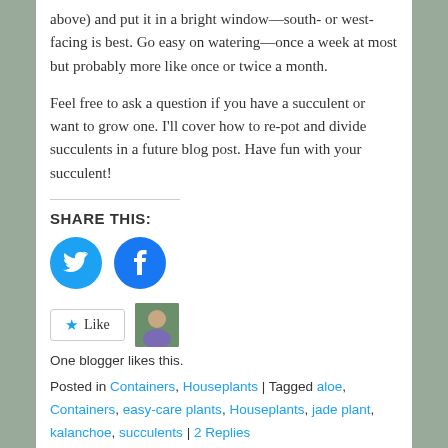above) and put it in a bright window—south- or west-facing is best. Go easy on watering—once a week at most but probably more like once or twice a month.
Feel free to ask a question if you have a succulent or want to grow one. I'll cover how to re-pot and divide succulents in a future blog post. Have fun with your succulent!
SHARE THIS:
[Figure (infographic): Twitter and Facebook social share icon buttons (blue circles with white bird and f logos)]
[Figure (infographic): Like button with star icon and blogger avatar photo]
One blogger likes this.
Posted in Containers, Houseplants | Tagged aloe, Containers, easy-care plants, Houseplants, jade plant, kalanchoe, succulents | 2 Replies
CATEGORIES